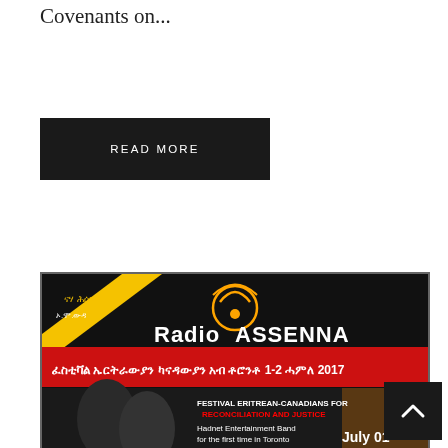Covenants on...
READ MORE
[Figure (photo): Radio Assenna banner advertising Eritrean Canadians Unity, Reconciliation and Justice Festival in Toronto, July 1-2 2017, at 1573 Bloor St W. Shows performers and event details in Tigrinya and English text.]
Voice of Assenna: Intv – Eritrean Canadians Unity, Reconciliation and Justice Festival